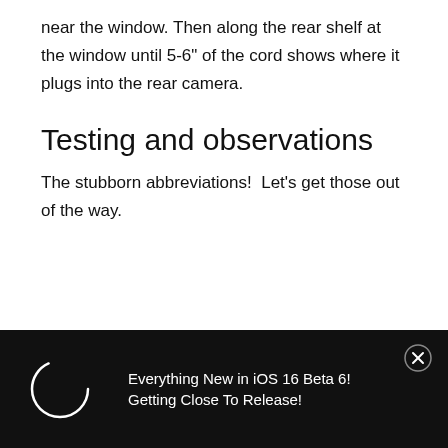near the window. Then along the rear shelf at the window until 5-6" of the cord shows where it plugs into the rear camera.
Testing and observations
The stubborn abbreviations!  Let's get those out of the way.
[Figure (screenshot): Black advertisement bar at the bottom showing a circular spinner icon on the left and text 'Everything New in iOS 16 Beta 6! Getting Close To Release!' with a close (X) button on the right.]